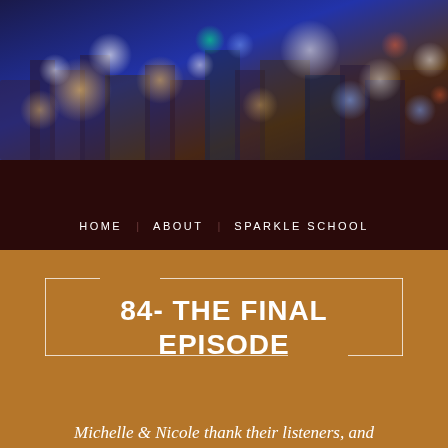[Figure (photo): Blurred city skyline at night with bokeh lights in blue, orange, and white tones]
HOME   ABOUT   SPARKLE SCHOOL
84- THE FINAL EPISODE
Michelle & Nicole thank their listeners, and